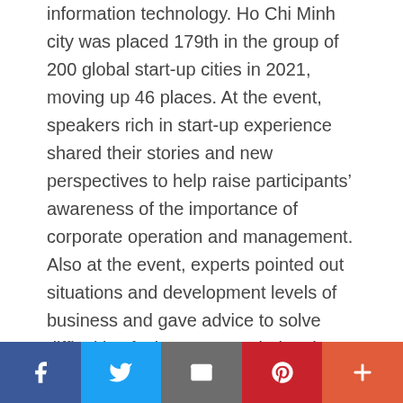information technology. Ho Chi Minh city was placed 179th in the group of 200 global start-up cities in 2021, moving up 46 places. At the event, speakers rich in start-up experience shared their stories and new perspectives to help raise participants' awareness of the importance of corporate operation and management. Also at the event, experts pointed out situations and development levels of business and gave advice to solve difficulties facing startups during the business building and on how to raise capital and operate a business. The seminar aimed to attract start-ups to the Viet Solutions program which is launched by National Digital Transformation Department and
Social share bar: Facebook, Twitter, Email, Pinterest, More